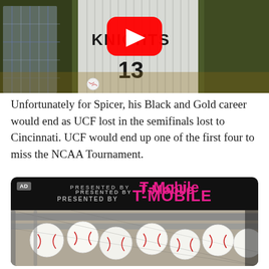[Figure (photo): Video thumbnail of a UCF Knights baseball player wearing jersey number 13, with a YouTube play button overlay. The player is wearing a black and white pinstripe uniform with 'KNIGHTS' text.]
Unfortunately for Spicer, his Black and Gold career would end as UCF lost in the semifinals lost to Cincinnati. UCF would end up one of the first four to miss the NCAA Tournament.
[Figure (photo): Advertisement block presented by T-Mobile, showing baseballs in a bucket/net, rendered on a dark background with rounded corners. An 'AD' label appears in the top left.]